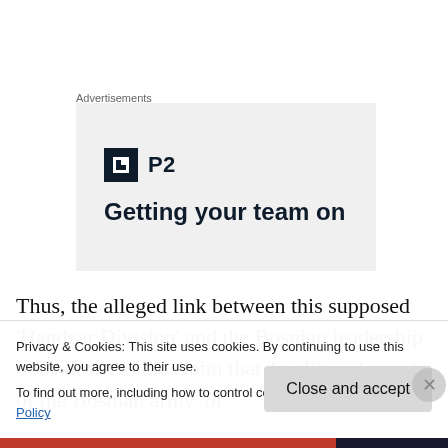Advertisements
[Figure (other): Advertisement banner showing P2 logo and partial headline 'Getting your team on']
Thus, the alleged link between this supposed ‘Handzar Division’ and the Bosnian leadership boils down to the claim that ‘hardline elements of the Bosnian army’ of
Privacy & Cookies: This site uses cookies. By continuing to use this website, you agree to their use.
To find out more, including how to control cookies, see here: Cookie Policy